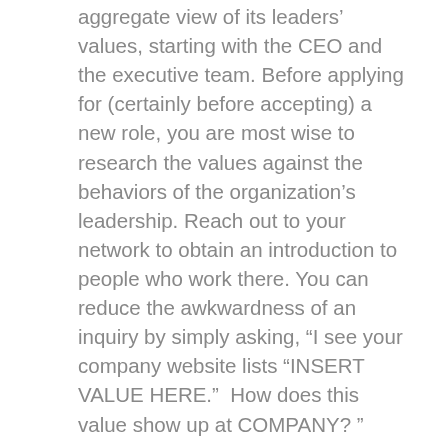aggregate view of its leaders' values, starting with the CEO and the executive team. Before applying for (certainly before accepting) a new role, you are most wise to research the values against the behaviors of the organization's leadership. Reach out to your network to obtain an introduction to people who work there. You can reduce the awkwardness of an inquiry by simply asking, “I see your company website lists “INSERT VALUE HERE.”  How does this value show up at COMPANY? ”
However, you choose to research; you will be taking a risk if you make assumptions and jump at a significant role without research. As lessons in life